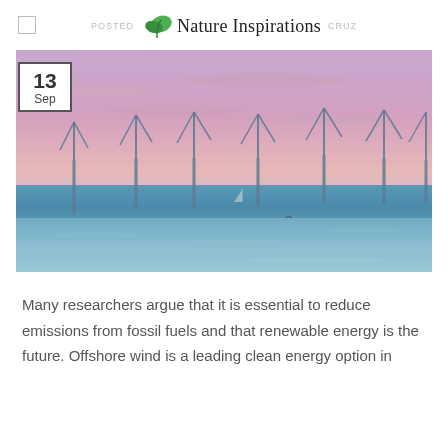POSTED   Nature Inspirations   CRUZ
[Figure (photo): Offshore wind turbines standing in the sea under a pink and purple sunset sky, with calm blue water in the foreground.]
Many researchers argue that it is essential to reduce emissions from fossil fuels and that renewable energy is the future. Offshore wind is a leading clean energy option in